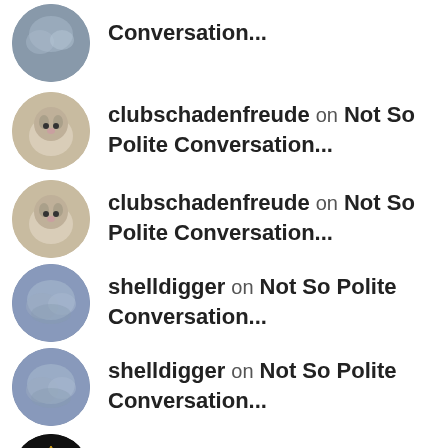Conversation...
clubschadenfreude on Not So Polite Conversation...
clubschadenfreude on Not So Polite Conversation...
shelldigger on Not So Polite Conversation...
shelldigger on Not So Polite Conversation...
RaPaR on Not So Polite Conversation...